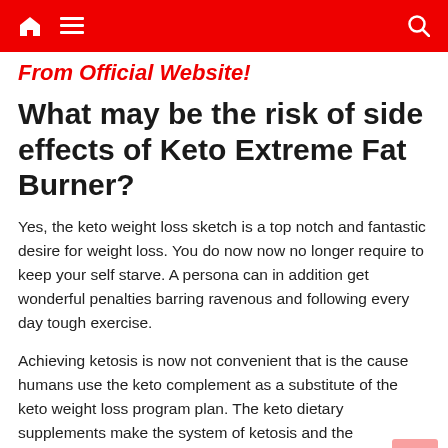From Official Website!
What may be the risk of side effects of Keto Extreme Fat Burner?
Yes, the keto weight loss sketch is a top notch and fantastic desire for weight loss. You do now now no longer require to keep your self starve. A persona can in addition get wonderful penalties barring ravenous and following every day tough exercise.
Achieving ketosis is now not convenient that is the cause humans use the keto complement as a substitute of the keto weight loss program plan. The keto dietary supplements make the system of ketosis and the experience of weight loss very easy.